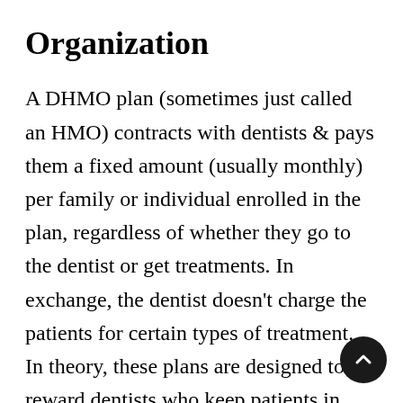Organization
A DHMO plan (sometimes just called an HMO) contracts with dentists & pays them a fixed amount (usually monthly) per family or individual enrolled in the plan, regardless of whether they go to the dentist or get treatments. In exchange, the dentist doesn't charge the patients for certain types of treatment. In theory, these plans are designed to reward dentists who keep patients in good dental health,